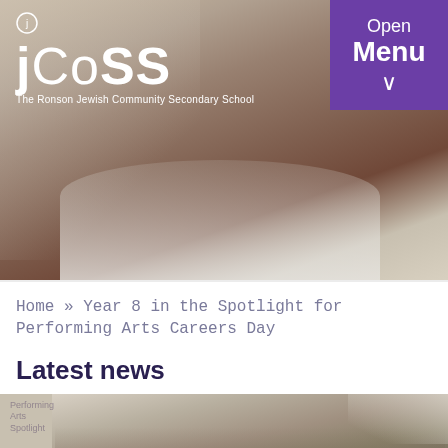[Figure (photo): Hero image of a young boy (student) in a white shirt, close-up face shot, school context. JCoSS logo and school name overlay on top left. Purple 'Open Menu' button on top right.]
Home » Year 8 in the Spotlight for Performing Arts Careers Day
Latest news
[Figure (photo): Partial view of a classroom scene with students, bottom section of page, with a faint label overlay on the left side.]